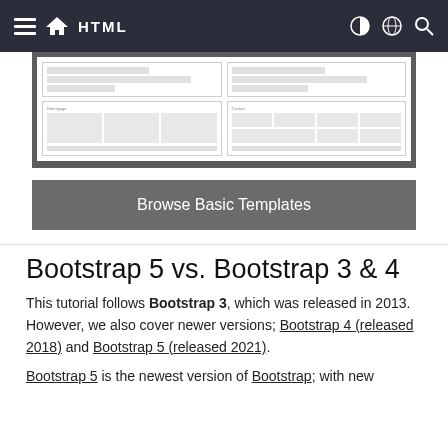HTML
[Figure (screenshot): Screenshot showing two side-by-side web page layout mockups with placeholder bars and grid cells]
Browse Basic Templates
Bootstrap 5 vs. Bootstrap 3 & 4
This tutorial follows Bootstrap 3, which was released in 2013. However, we also cover newer versions; Bootstrap 4 (released 2018) and Bootstrap 5 (released 2021).
Bootstrap 5 is the newest version of Bootstrap; with new